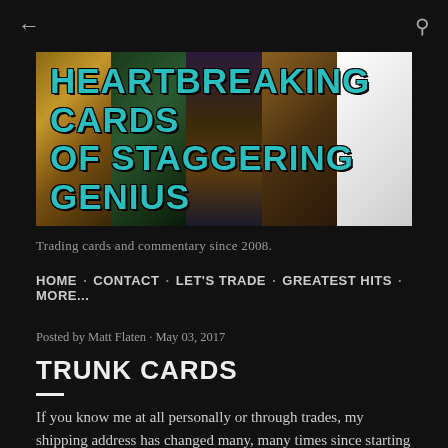[Figure (photo): Website banner image showing multiple vintage trading cards with bold teal text overlay reading HEARTBREAKING CARDS OF STAGGERING GENIUS]
Trading cards and commentary since 2008.
HOME · CONTACT · LET'S TRADE · GREATEST HITS · MORE...
Posted by Matt Flaten · May 03, 2017
TRUNK CARDS
If you know me at all personally or through trades, my shipping address has changed many, many times since starting